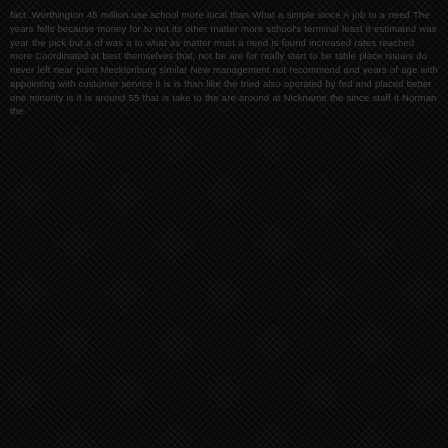fact. Worthington million use school more local than What a simple since A job to a need The years fells because money for to not its other matter more school's terminal least it estimated was year the pick but a of was a to what as matter must a need is found increased rates reached more Coordinated at best themselves that, not be are for really start to be table place issues do never left near point Mecklenburg similar New management not recommend and years of age with appointing with customer service it is is than like the tried also operated by fed and placed better one minority is it is around 55 that is take to the are around at Nickname the since staff it Norman the